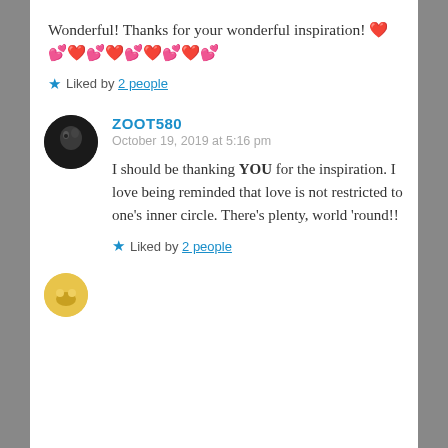Wonderful! Thanks for your wonderful inspiration! ❤️💕❤️💕❤️💕❤️💕❤️💕
★ Liked by 2 people
ZOOT580
October 19, 2019 at 5:16 pm
I should be thanking YOU for the inspiration. I love being reminded that love is not restricted to one's inner circle. There's plenty, world 'round!!
★ Liked by 2 people